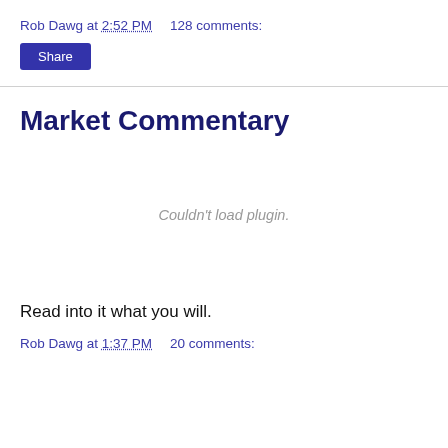Rob Dawg at 2:52 PM    128 comments:
Share
Market Commentary
Couldn't load plugin.
Read into it what you will.
Rob Dawg at 1:37 PM    20 comments: